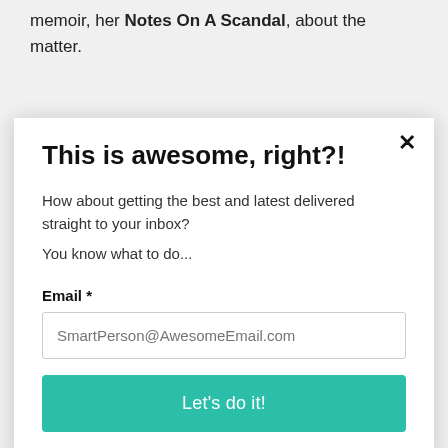memoir, her Notes On A Scandal, about the matter.
Notes On A Scandal evoked The Prime Of Miss Jean Brodie for…
This is awesome, right?!
How about getting the best and latest delivered straight to your inbox?
You know what to do...
Email *
SmartPerson@AwesomeEmail.com
Let's do it!